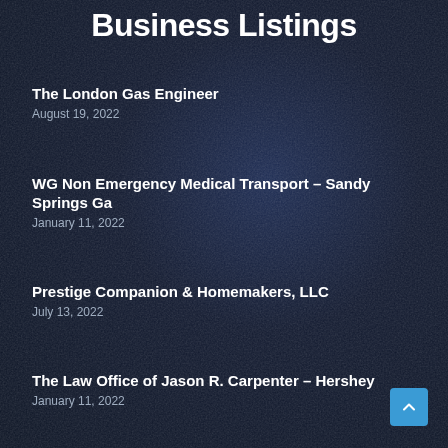Business Listings
The London Gas Engineer
August 19, 2022
WG Non Emergency Medical Transport – Sandy Springs Ga
January 11, 2022
Prestige Companion & Homemakers, LLC
July 13, 2022
The Law Office of Jason R. Carpenter – Hershey
January 11, 2022